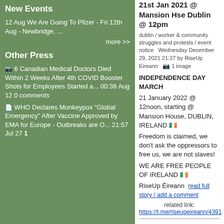New Events
12 Aug We Are Going To Pfizer - Fri 12th Aug - Newbridge, ...
more >>
Other Press
6 Canadian Medical Doctors Died Within 2 Weeks After 4th COVID Booster Shots for Employees Started a... 00:38 Aug 12 0 comments
WHO Declares Monkeypox "Global Emergency" After Vaccine Approved by EMA for Europe - Outbreaks are O... 21:57 Jul 27 1
21st Jan 2021 @ Mansion Hse Dublin @ 12pm
dublin / worker & community struggles and protests / event notice  Wednesday December 29, 2021 21:27 by RiseUp Eireann   1 image
INDEPENDENCE DAY MARCH
21 January 2022 @ 12noon, starting @ Mansion House, DUBLIN, IRELAND 🇮🇪
Freedom is claimed, we don't ask the oppressors to free us, we are not slaves!
WE ARE FREE PEOPLE OF IRELAND 🇮🇪
RiseUp Éireann  read full story / add a comment
related link: https://t.me/riseupeireann/4391
Protests over post-vaccination deaths spread across South Korea
international / rights, freedoms and repression / other press  Sunday December 26, 2021 23:18  by 1 of Indy
One of the most vaccinated nations on earth is seeing increased public pushback over Covid-19 jabs, as demonstrators in South Korea are demanding accountability for deaths that they blame on the shots.  read full story / add a comment